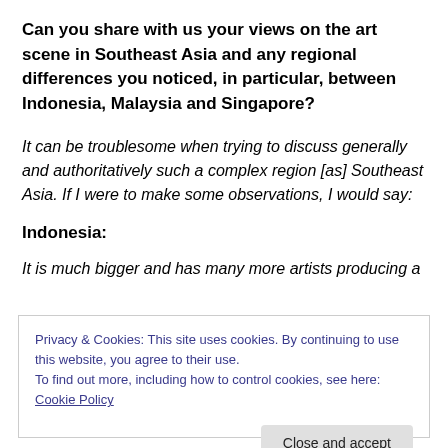Can you share with us your views on the art scene in Southeast Asia and any regional differences you noticed, in particular, between Indonesia, Malaysia and Singapore?
It can be troublesome when trying to discuss generally and authoritatively such a complex region [as] Southeast Asia. If I were to make some observations, I would say:
Indonesia:
It is much bigger and has many more artists producing a
Privacy & Cookies: This site uses cookies. By continuing to use this website, you agree to their use.
To find out more, including how to control cookies, see here: Cookie Policy